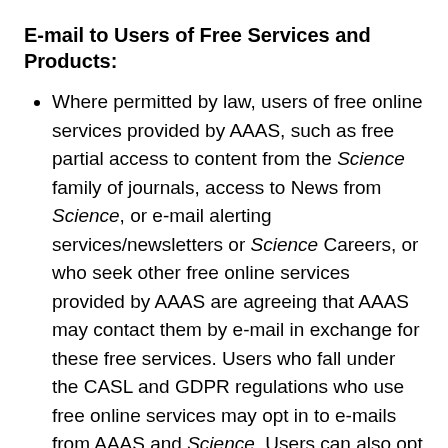E-mail to Users of Free Services and Products:
Where permitted by law, users of free online services provided by AAAS, such as free partial access to content from the Science family of journals, access to News from Science, or e-mail alerting services/newsletters or Science Careers, or who seek other free online services provided by AAAS are agreeing that AAAS may contact them by e-mail in exchange for these free services. Users who fall under the CASL and GDPR regulations who use free online services may opt in to e-mails from AAAS and Science. Users can also opt in for third-party informational e-mails.
Where permitted by law, users who do not wish to receive e-mail alerting services or newsletters...